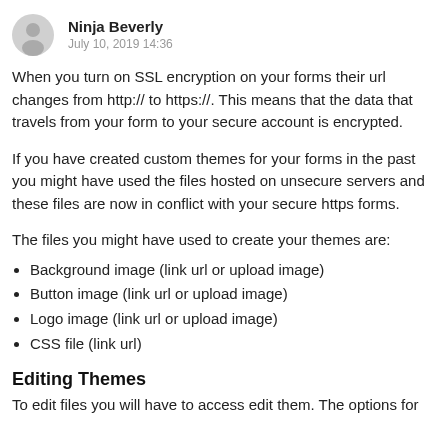Ninja Beverly
July 10, 2019 14:36
When you turn on SSL encryption on your forms their url changes from http:// to https://. This means that the data that travels from your form to your secure account is encrypted.
If you have created custom themes for your forms in the past you might have used the files hosted on unsecure servers and these files are now in conflict with your secure https forms.
The files you might have used to create your themes are:
Background image (link url or upload image)
Button image (link url or upload image)
Logo image (link url or upload image)
CSS file (link url)
Editing Themes
To edit files you will have to access edit them. The options for